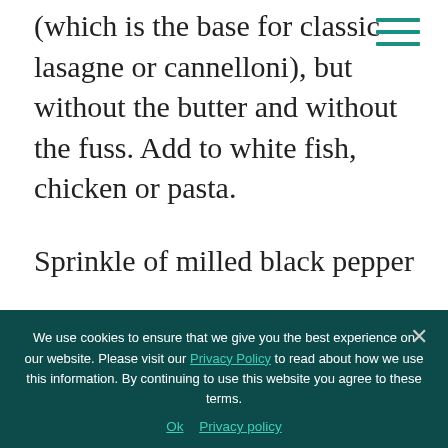(which is the base for classic lasagne or cannelloni), but without the butter and without the fuss. Add to white fish, chicken or pasta.
Sprinkle of milled black pepper
Method
In a cup mix the corn flour, mustard and
We use cookies to ensure that we give you the best experience on our website. Please visit our Privacy Policy to read about how we use this information. By continuing to use this website you agree to these terms.